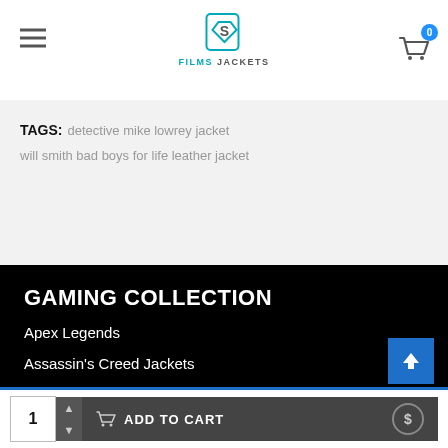Films Jackets — navigation header with logo and cart
TAGS: detective mike lowrey jacket  will smith bad boys for life leather jacket
GAMING COLLECTION
Apex Legends
Assassin's Creed Jackets
Cyberpunk 2077
Devil May Cry Jackets
Fortnite
1  ADD TO CART